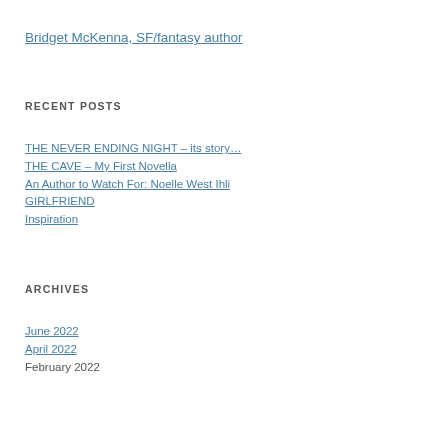Bridget McKenna, SF/fantasy author
RECENT POSTS
THE NEVER ENDING NIGHT – its story…
THE CAVE – My First Novella
An Author to Watch For: Noelle West Ihli
GIRLFRIEND
Inspiration
ARCHIVES
June 2022
April 2022
February 2022